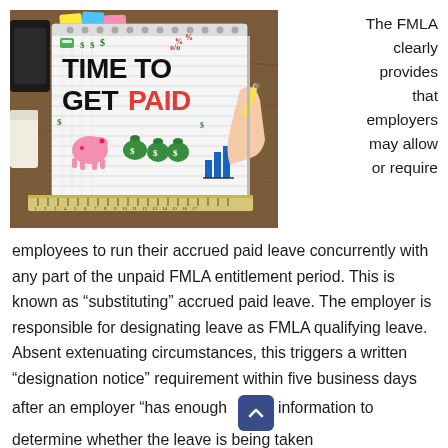[Figure (photo): Photo of a notepad on a wooden desk showing 'TIME TO GET PAID' written in large letters (PAID in red), with drawings of money, piggy bank, bags of money, and a bar chart. A hand holds a pencil. A ruler lies in front. Other desk items visible.]
The FMLA clearly provides that employers may allow or require employees to run their accrued paid leave concurrently with any part of the unpaid FMLA entitlement period. This is known as “substituting” accrued paid leave. The employer is responsible for designating leave as FMLA qualifying leave. Absent extenuating circumstances, this triggers a written “designation notice” requirement within five business days after an employer “has enough information to determine whether the leave is being taken